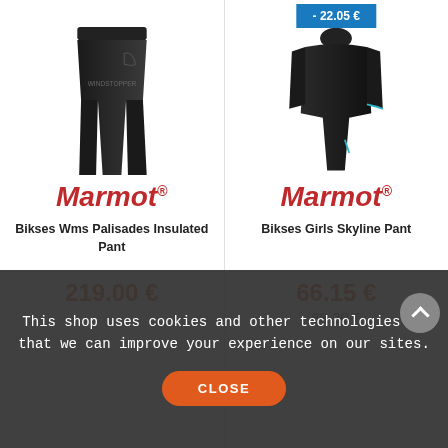[Figure (photo): Black Marmot Bikses Wms Palisades Insulated Pant product photo]
[Figure (photo): Black Marmot Bikses Girls Skyline Pant product photo with -22.05 € discount badge]
Marmot
Marmot
Bikses Wms Palisades Insulated Pant
Bikses Girls Skyline Pant
219.00 €
66.15 €
88.20 €
This shop uses cookies and other technologies so that we can improve your experience on our sites.
CLOSE